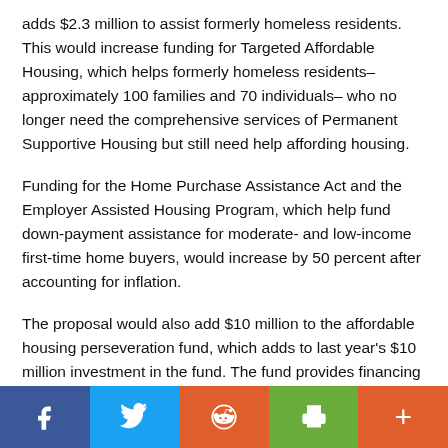adds $2.3 million to assist formerly homeless residents. This would increase funding for Targeted Affordable Housing, which helps formerly homeless residents– approximately 100 families and 70 individuals– who no longer need the comprehensive services of Permanent Supportive Housing but still need help affording housing.
Funding for the Home Purchase Assistance Act and the Employer Assisted Housing Program, which help fund down-payment assistance for moderate- and low-income first-time home buyers, would increase by 50 percent after accounting for inflation.
The proposal would also add $10 million to the affordable housing perseveration fund, which adds to last year's $10 million investment in the fund. The fund provides financing to
[Figure (infographic): Social sharing bar with five buttons: Facebook (blue), Twitter (light blue), Reddit (orange), Print (green), More (orange-red)]